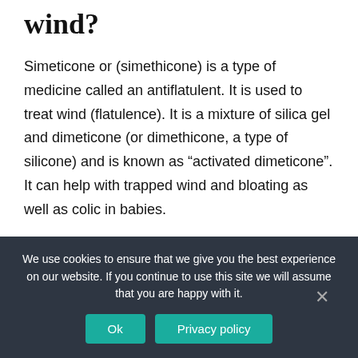wind?
Simeticone or (simethicone) is a type of medicine called an antiflatulent. It is used to treat wind (flatulence). It is a mixture of silica gel and dimeticone (or dimethicone, a type of silicone) and is known as “activated dimeticone”. It can help with trapped wind and bloating as well as colic in babies.
We use cookies to ensure that we give you the best experience on our website. If you continue to use this site we will assume that you are happy with it.